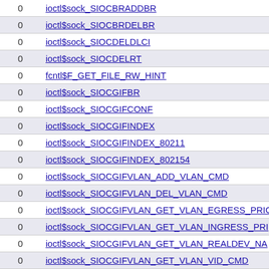|  |  |
| --- | --- |
| 0 | ioctl$sock_SIOCBRADDBR |
| 0 | ioctl$sock_SIOCBRDELBR |
| 0 | ioctl$sock_SIOCDELDLCI |
| 0 | ioctl$sock_SIOCDELRT |
| 0 | fcntl$F_GET_FILE_RW_HINT |
| 0 | ioctl$sock_SIOCGIFBR |
| 0 | ioctl$sock_SIOCGIFCONF |
| 0 | ioctl$sock_SIOCGIFINDEX |
| 0 | ioctl$sock_SIOCGIFINDEX_80211 |
| 0 | ioctl$sock_SIOCGIFINDEX_802154 |
| 0 | ioctl$sock_SIOCGIFVLAN_ADD_VLAN_CMD |
| 0 | ioctl$sock_SIOCGIFVLAN_DEL_VLAN_CMD |
| 0 | ioctl$sock_SIOCGIFVLAN_GET_VLAN_EGRESS_PRIO |
| 0 | ioctl$sock_SIOCGIFVLAN_GET_VLAN_INGRESS_PRI |
| 0 | ioctl$sock_SIOCGIFVLAN_GET_VLAN_REALDEV_NA |
| 0 | ioctl$sock_SIOCGIFVLAN_GET_VLAN_VID_CMD |
| 0 | ioctl$sock_SIOCGIFVLAN_SET_VLAN_EGRESS_PRIO |
| 0 | ioctl$sock_SIOCGIFVLAN_SET_VLAN_FLAG_CMD |
| 0 | ioctl$sock_SIOCGIFVLAN_SET_VLAN_INGRESS_PRI |
| 0 | ioctl$sock_SIOCGIFVLAN_SET_VLAN_NAME_TYPE |